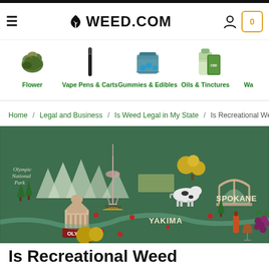WEED.COM
[Figure (infographic): Product category navigation strip showing Flower, Vape Pens & Carts, Gummies & Edibles, Oils & Tinctures, and partially visible Wa... with product images above each label]
Home / Legal and Business / Is Weed Legal in My State / Is Recreational We...
[Figure (illustration): Illustrated map of Washington State showing cities including Olympia, Seattle, Yakima, and Spokane with decorative regional icons]
Is Recreational Weed...